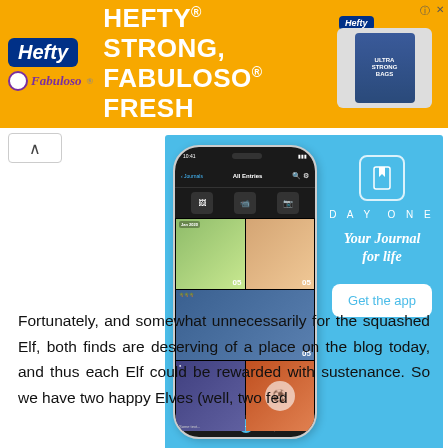[Figure (photo): Orange Hefty/Fabuloso banner advertisement at top of page]
[Figure (photo): DayOne app advertisement on light blue background showing smartphone with journal app interface. Text reads: DAYONE, Your Journal for life, Get the app]
Fortunately, and somewhat unnecessarily for the squashed Elf, both finds are deserving of a place on the blog today, and thus each Elf could be rewarded with sustenance. So we have two happy Elves (well, two fed